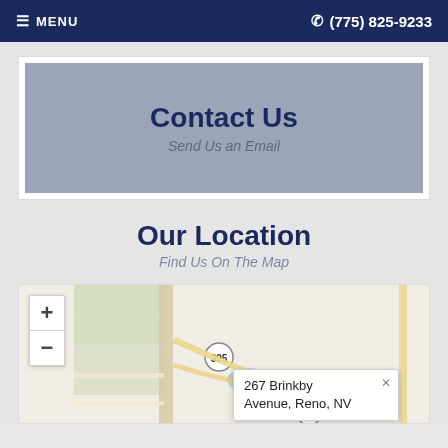≡ MENU   ☎ (775) 825-9233
Contact Us
Send Us an Email
Our Location
Find Us On The Map
[Figure (map): Interactive map with zoom controls (+/-), route 395 visible, map popup showing '267 Brinkby Avenue, Reno, NV']